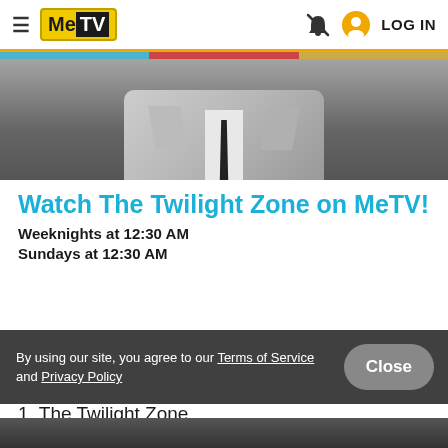MeTV — LOG IN
[Figure (photo): Black and white photo of a man in a suit and tie, cropped to show chest and lower face]
Watch The Twilight Zone on MeTV!
Weeknights at 12:30 AM
Sundays at 12:30 AM
By using our site, you agree to our Terms of Service and Privacy Policy
1. The Twilight Zone
[Figure (photo): Dark image strip at bottom of page]